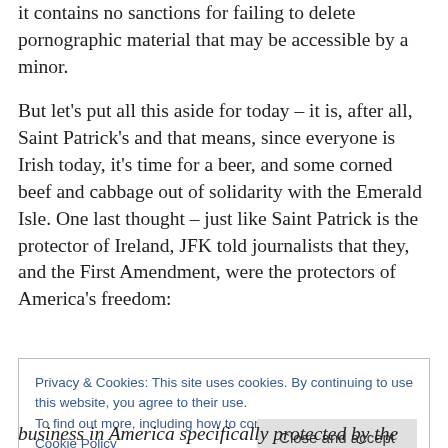it contains no sanctions for failing to delete pornographic material that may be accessible by a minor.
But let’s put all this aside for today – it is, after all, Saint Patrick’s and that means, since everyone is Irish today, it's time for a beer, and some corned beef and cabbage out of solidarity with the Emerald Isle. One last thought – just like Saint Patrick is the protector of Ireland, JFK told journalists that they, and the First Amendment, were the protectors of America's freedom:
Privacy & Cookies: This site uses cookies. By continuing to use this website, you agree to their use.
To find out more, including how to control cookies, see here: Cookie Policy
Close and accept
business in America specifically protected by the